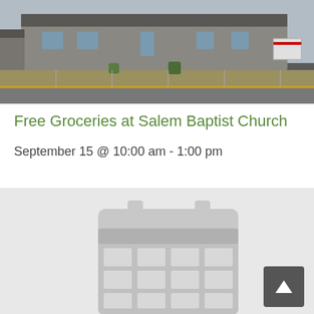[Figure (photo): Exterior photo of Salem Baptist Church building with parking lot, landscaping, and road in foreground]
Free Groceries at Salem Baptist Church
September 15 @ 10:00 am - 1:00 pm
[Figure (illustration): Large calendar icon graphic in light gray on a light gray background, representing an event/calendar entry. A dark scroll-to-top button with a caret/arrow is overlaid in the bottom right.]